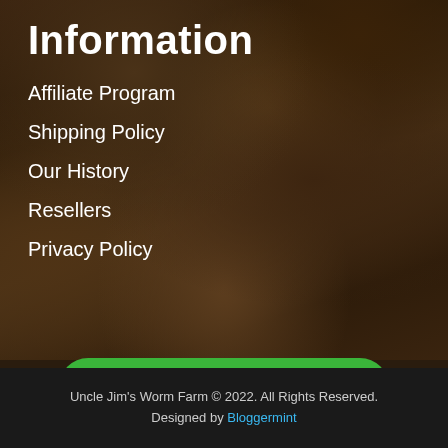Information
Affiliate Program
Shipping Policy
Our History
Resellers
Privacy Policy
[Figure (infographic): Green rounded button with envelope icon and text SIGN UP FOR EMAILS]
[Figure (logo): Comodo security badge, BBB Accredited Business badge, PayPal logo]
Uncle Jim's Worm Farm © 2022. All Rights Reserved. Designed by Bloggermint